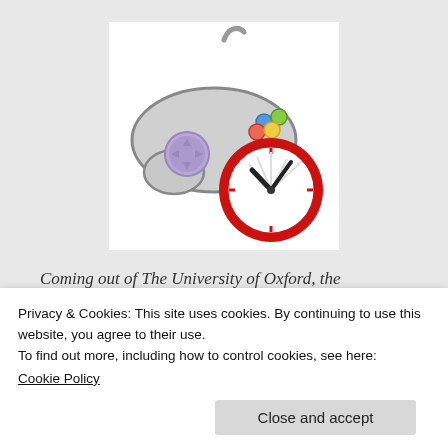[Figure (illustration): Illustration of a video game controller (white/gray with colored buttons and a purple analog stick) overlapping with a red-rimmed analog clock showing approximately 10:10 time, on a white background.]
Coming out of The University of Oxford, the
Privacy & Cookies: This site uses cookies. By continuing to use this website, you agree to their use.
To find out more, including how to control cookies, see here:
Cookie Policy
Close and accept
sample of 10 to 15 year old children and had